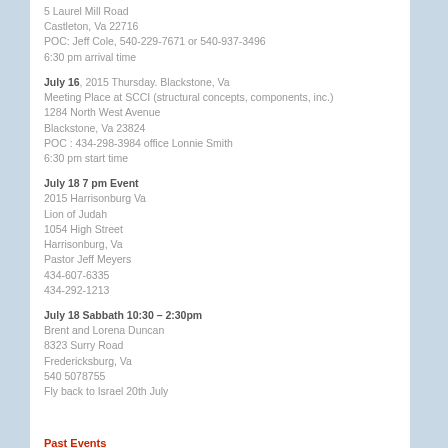5 Laurel Mill Road
Castleton, Va 22716
POC: Jeff Cole, 540-229-7671 or 540-937-3496
6:30 pm arrival time
July 16, 2015 Thursday. Blackstone, Va
Meeting Place at SCCI (structural concepts, components, inc.)
1284 North West Avenue
Blackstone, Va 23824
POC : 434-298-3984 office Lonnie Smith
6:30 pm start time
July 18 7 pm Event
2015 Harrisonburg Va
Lion of Judah
1054 High Street
Harrisonburg, Va
Pastor Jeff Meyers
434-607-6335
434-292-1213
July 18 Sabbath 10:30 – 2:30pm
Brent and Lorena Duncan
8323 Surry Road
Fredericksburg, Va
540 5078755
Fly back to Israel 20th July
Past Events
26th December – 24th Mar 2015 – other dates will be confirmed as bookings are made